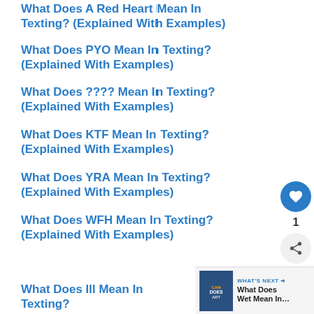What Does A Red Heart Mean In Texting? (Explained With Examples)
What Does PYO Mean In Texting? (Explained With Examples)
What Does ???? Mean In Texting? (Explained With Examples)
What Does KTF Mean In Texting? (Explained With Examples)
What Does YRA Mean In Texting? (Explained With Examples)
What Does WFH Mean In Texting? (Explained With Examples)
What Does Ill Mean In Texting?